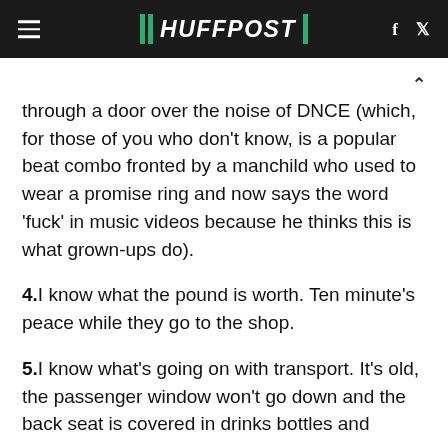HUFFPOST
through a door over the noise of DNCE (which, for those of you who don't know, is a popular beat combo fronted by a manchild who used to wear a promise ring and now says the word 'fuck' in music videos because he thinks this is what grown-ups do).
4.I know what the pound is worth. Ten minute's peace while they go to the shop.
5.I know what's going on with transport. It's old, the passenger window won't go down and the back seat is covered in drinks bottles and